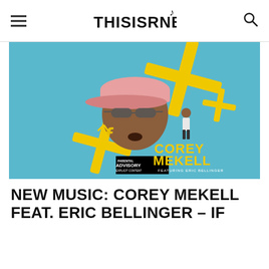THISISRNB
[Figure (photo): Album cover art for Corey Mekell featuring Eric Bellinger – IF. Teal/sky blue background with a man wearing a pink baseball cap and glasses, yellow X cross shapes scattered around, a small full-body figure, 'IF' logo in yellow/black, Parental Advisory Explicit Content label, and 'COREY MEKELL featuring ERIC BELLINGER' text in bold yellow and white.]
NEW MUSIC: COREY MEKELL FEAT. ERIC BELLINGER – IF